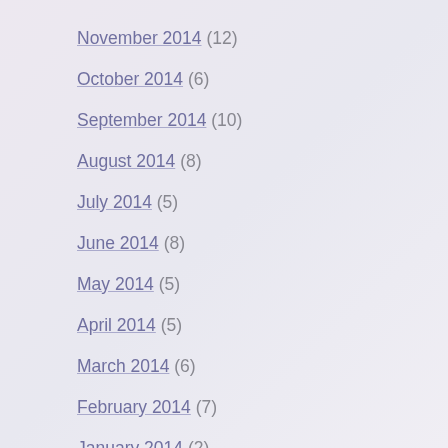November 2014 (12)
October 2014 (6)
September 2014 (10)
August 2014 (8)
July 2014 (5)
June 2014 (8)
May 2014 (5)
April 2014 (5)
March 2014 (6)
February 2014 (7)
January 2014 (2)
August 2013 (1)
February 2013 (2)
January 2013 (9)